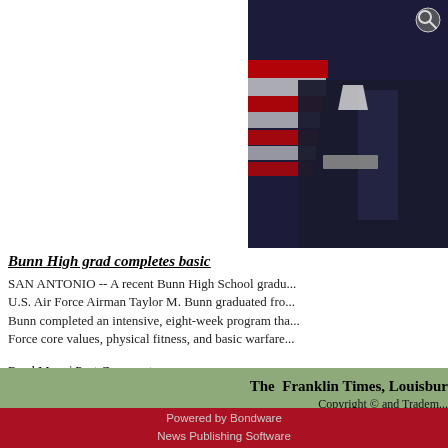[Figure (photo): Partial photograph of U.S. Air Force service member in uniform, with an American flag visible in the background. A magnifying glass/search icon is visible in the upper right corner of the image.]
Bunn High grad completes basic
SAN ANTONIO -- A recent Bunn High School gradu... U.S. Air Force Airman Taylor M. Bunn graduated fro... Bunn completed an intensive, eight-week program tha... Force core values, physical fitness, and basic warfare
Read More | Post Comment
The  Franklin Times, Louisbur...
Copyright © and Tradem...
Copyright Statement | Priv...
Powered by Bondware
News Publishing Software